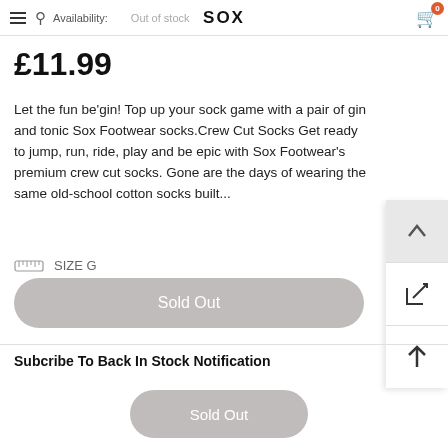Availability: Out of stock | SOX
£11.99
Let the fun be'gin! Top up your sock game with a pair of gin and tonic Sox Footwear socks.Crew Cut Socks Get ready to jump, run, ride, play and be epic with Sox Footwear's premium crew cut socks. Gone are the days of wearing the same old-school cotton socks built...
SIZE G
Sold Out
Subcribe To Back In Stock Notification
Sold Out